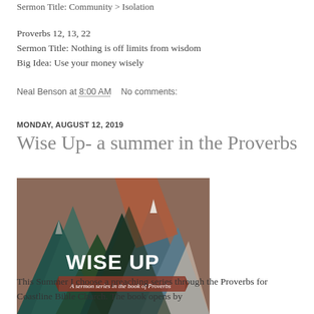Sermon Title: Community > Isolation
Proverbs 12, 13, 22
Sermon Title: Nothing is off limits from wisdom
Big Idea: Use your money wisely
Neal Benson at 8:00 AM   No comments:
MONDAY, AUGUST 12, 2019
Wise Up- a summer in the Proverbs
[Figure (photo): Promotional image for 'Wise Up - A sermon series in the book of Proverbs' featuring stylized mountain peaks with photographic textures and bold white text overlay.]
This Summer I choose a preaching series through the Proverbs for Coastline Bible Church. The book opens by